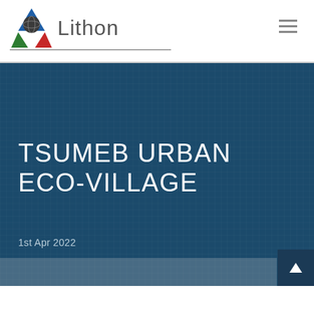Lithon
[Figure (logo): Lithon company logo with triangular icon featuring blue, green, and red triangles around a globe, with the word 'Lithon' in grey text beside it]
TSUMEB URBAN ECO-VILLAGE
1st Apr 2022